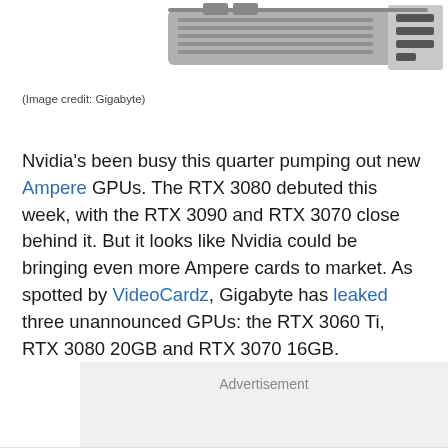[Figure (photo): Partial view of a Gigabyte RTX series GPU graphics card, showing the back plate and I/O ports at the top-right corner of the image against a white background.]
(Image credit: Gigabyte)
Nvidia's been busy this quarter pumping out new Ampere GPUs. The RTX 3080 debuted this week, with the RTX 3090 and RTX 3070 close behind it. But it looks like Nvidia could be bringing even more Ampere cards to market. As spotted by VideoCardz, Gigabyte has leaked three unannounced GPUs: the RTX 3060 Ti, RTX 3080 20GB and RTX 3070 16GB.
Advertisement